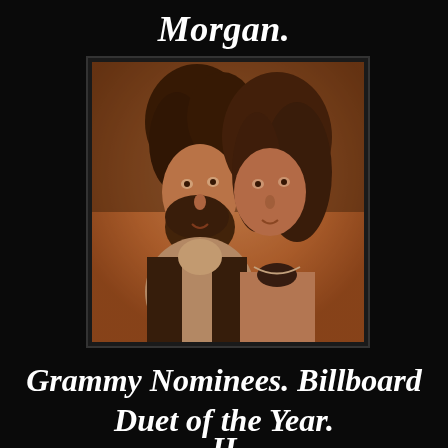Morgan.
[Figure (photo): Sepia-toned photograph of a man and woman. The man has dark wavy hair and a beard, wearing a turtleneck sweater and dark vest. The woman has shoulder-length brown hair and is wearing a necklace. They are posed close together.]
Grammy Nominees. Billboard Duet of the Year.
II